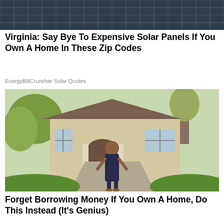[Figure (photo): Close-up photo of dark solar panels on a roof]
Virginia: Say Bye To Expensive Solar Panels If You Own A Home In These Zip Codes
EnergyBillCruncher Solar Quotes
[Figure (photo): Woman in a navy dress standing on a driveway in front of a large beige house with trees and greenery]
Forget Borrowing Money If You Own A Home, Do This Instead (It's Genius)